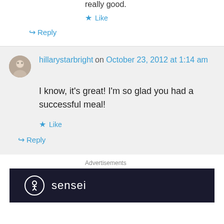really good.
Like
Reply
hillarystarbright on October 23, 2012 at 1:14 am
I know, it's great! I'm so glad you had a successful meal!
Like
Reply
Advertisements
[Figure (logo): Sensei logo: white circle with tree/person icon and the word 'sensei' on dark navy background]